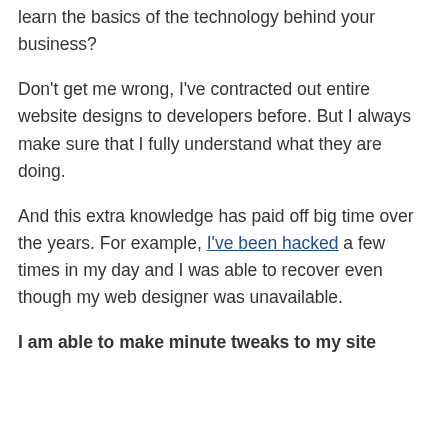learn the basics of the technology behind your business?
Don't get me wrong, I've contracted out entire website designs to developers before. But I always make sure that I fully understand what they are doing.
And this extra knowledge has paid off big time over the years. For example, I've been hacked a few times in my day and I was able to recover even though my web designer was unavailable.
I am able to make minute tweaks to my site